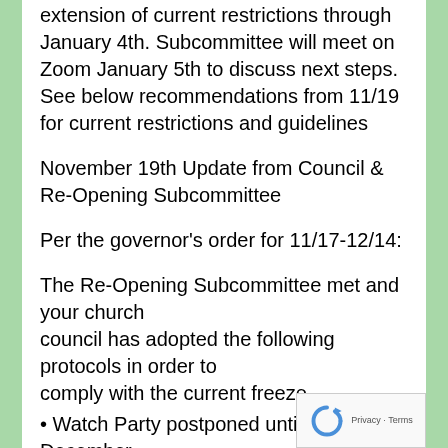extension of current restrictions through January 4th. Subcommittee will meet on Zoom January 5th to discuss next steps. See below recommendations from 11/19 for current restrictions and guidelines
November 19th Update from Council & Re-Opening Subcommittee
Per the governor's order for 11/17-12/14:
The Re-Opening Subcommittee met and your church council has adopted the following protocols in order to comply with the current freeze.
• Watch Party postponed until after December...